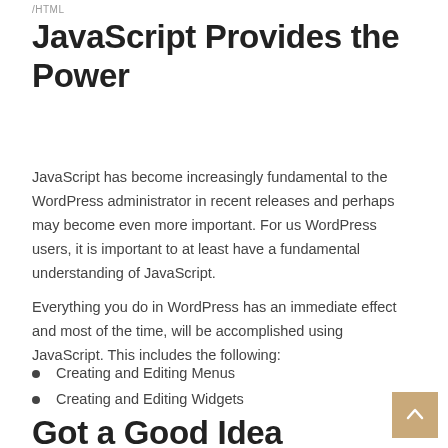/HTML
JavaScript Provides the Power
JavaScript has become increasingly fundamental to the WordPress administrator in recent releases and perhaps may become even more important. For us WordPress users, it is important to at least have a fundamental understanding of JavaScript.
Everything you do in WordPress has an immediate effect and most of the time, will be accomplished using JavaScript. This includes the following:
Creating and Editing Menus
Creating and Editing Widgets
Updating Plugins and Themes
Using the Customizer (Appearance > Customize)
Got a Good Idea